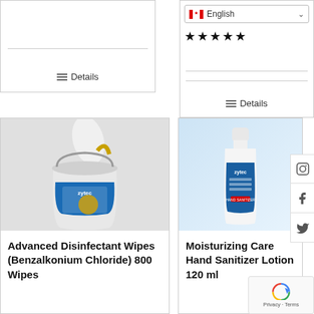[Figure (screenshot): Top-left product card with a horizontal divider and Details link]
☰ Details
[Figure (screenshot): Top-right card with English language selector, Canadian flag, five stars, divider and Details link]
English
★★★★★
☰ Details
[Figure (photo): Zytec Advanced Disinfectant Wipes Benzalkonium Chloride 800 Wipes bucket container with a wipe pulled out]
Advanced Disinfectant Wipes (Benzalkonium Chloride) 800 Wipes
[Figure (photo): Zytec Moisturizing Care Hand Sanitizer Lotion 120 ml bottle on light blue background]
Moisturizing Care Hand Sanitizer Lotion 120 ml
[Figure (other): Social media sidebar icons: Instagram, Facebook, Twitter]
[Figure (other): reCAPTCHA badge with Privacy and Terms links]